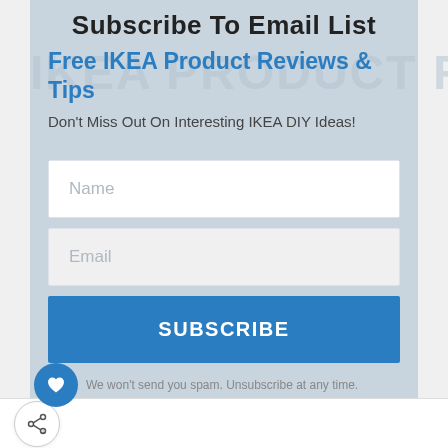Subscribe To Email List
Free IKEA Product Reviews & Tips
Don't Miss Out On Interesting IKEA DIY Ideas!
Name
Email
SUBSCRIBE
We won't send you spam. Unsubscribe at any time.